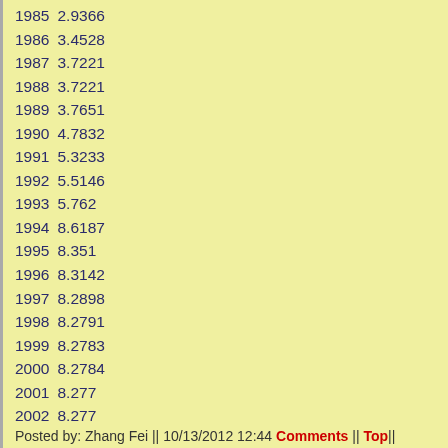| Year | Value |
| --- | --- |
| 1985 | 2.9366 |
| 1986 | 3.4528 |
| 1987 | 3.7221 |
| 1988 | 3.7221 |
| 1989 | 3.7651 |
| 1990 | 4.7832 |
| 1991 | 5.3233 |
| 1992 | 5.5146 |
| 1993 | 5.762 |
| 1994 | 8.6187 |
| 1995 | 8.351 |
| 1996 | 8.3142 |
| 1997 | 8.2898 |
| 1998 | 8.2791 |
| 1999 | 8.2783 |
| 2000 | 8.2784 |
| 2001 | 8.277 |
| 2002 | 8.277 |
| 2003 | 8.277 |
| 2004 | 8.2768 |
| 2005 | 8.1917 |
| 2006 | 7.9718 |
| 2007 | 7.604 |
| 2008 | 6.9451 |
| 2009 | 6.831 |
| 2010 | 6.7695 |
| 2011 | 6.4588 |
Posted by: Zhang Fei || 10/13/2012 12:44 Comments || Top||